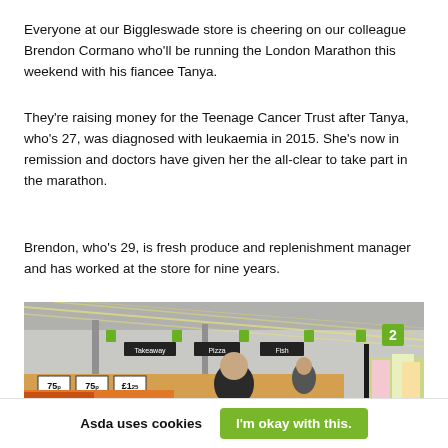Everyone at our Biggleswade store is cheering on our colleague Brendon Cormano who'll be running the London Marathon this weekend with his fiancee Tanya.
They're raising money for the Teenage Cancer Trust after Tanya, who's 27, was diagnosed with leukaemia in 2015. She's now in remission and doctors have given her the all-clear to take part in the marathon.
Brendon, who's 29, is fresh produce and replenishment manager and has worked at the store for nine years.
[Figure (photo): Interior of an Asda supermarket store showing produce aisles with overhead lighting, aisle signs for Takeaway, Pizza, and Fish sections, price signs showing 75p, and a male employee visible in the foreground near the produce section with flowers on the right side.]
Asda uses cookies
I'm okay with this.